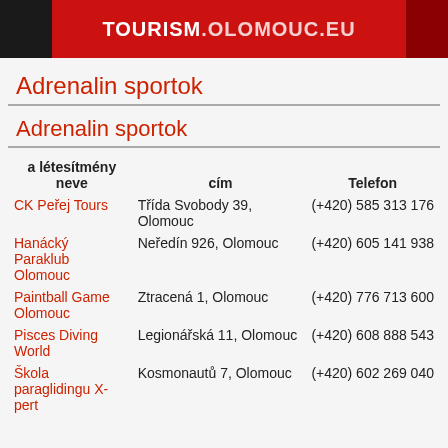TOURISM.OLOMOUC.EU
Adrenalin sportok
Adrenalin sportok
| a létesítmény neve | cím | Telefon |
| --- | --- | --- |
| CK Peřej Tours | Třída Svobody 39, Olomouc | (+420) 585 313 176 |
| Hanácký Paraklub Olomouc | Neředín 926, Olomouc | (+420) 605 141 938 |
| Paintball Game Olomouc | Ztracená 1, Olomouc | (+420) 776 713 600 |
| Pisces Diving World | Legionářská 11, Olomouc | (+420) 608 888 543 |
| Škola paraglidingu X-pert | Kosmonautů 7, Olomouc | (+420) 602 269 040 |